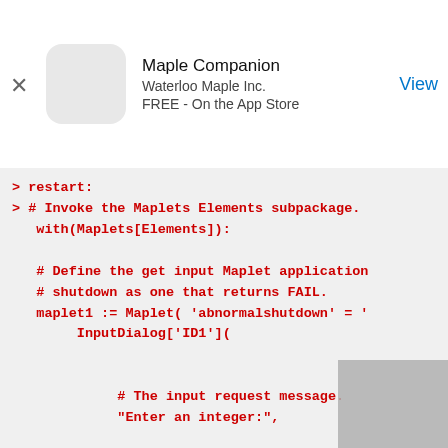[Figure (screenshot): App Store advertisement banner for Maple Companion by Waterloo Maple Inc., FREE on the App Store, with a View button]
> restart:
> # Invoke the Maplets Elements subpackage.
   with(Maplets[Elements]):

   # Define the get input Maplet application
   # shutdown as one that returns FAIL.
   maplet1 := Maplet( 'abnormalshutdown' = '
        InputDialog['ID1'](


             # The input request message.
             "Enter an integer:",


             # The Maplet application title.
             'title' = "Request",